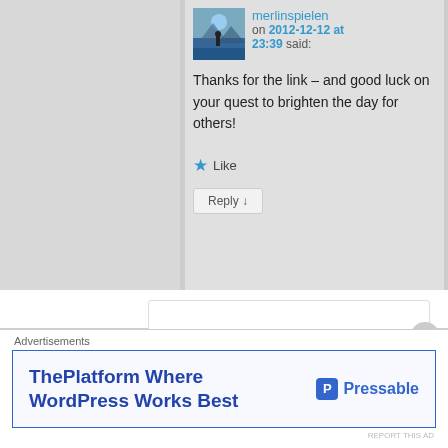merlinspielen on 2012-12-12 at 23:39 said:
Thanks for the link – and good luck on your quest to brighten the day for others!
Like
Reply ↓
[Figure (photo): Open book photo]
Advertisements
ThePlatform Where WordPress Works Best
[Figure (logo): Pressable logo with P icon]